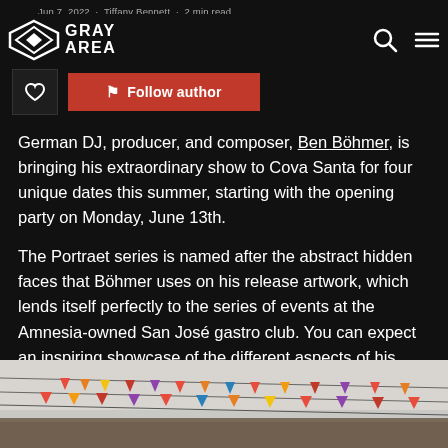Jun 7, 2022 · Tiffany Bennett · 2 min read
[Figure (logo): Gray Area logo — diamond/rhombus geometric icon with GRAY AREA text]
[Figure (other): Author avatar box with heart icon and Follow author button in red]
German DJ, producer, and composer, Ben Böhmer, is bringing his extraordinary show to Cova Santa for four unique dates this summer, starting with the opening party on Monday, June 13th.
The Portraet series is named after the abstract hidden faces that Böhmer uses on his release artwork, which lends itself perfectly to the series of events at the Amnesia-owned San José gastro club. You can expect an inspiring showcase of the different aspects of his performances as an artist, producer, and composer.
[Figure (photo): Partial photo showing colorful bunting/pennant flags strung across an outdoor venue against a light sky]